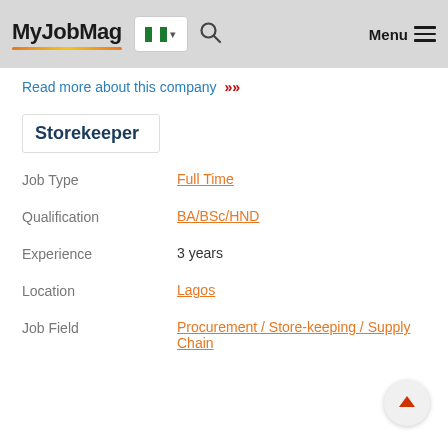MyJobMag
Read more about this company »
Storekeeper
Job Type: Full Time
Qualification: BA/BSc/HND
Experience: 3 years
Location: Lagos
Job Field: Procurement / Store-keeping / Supply Chain